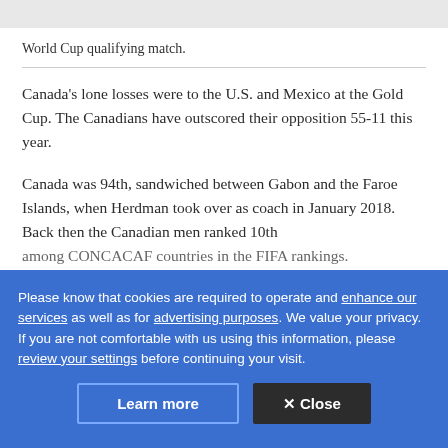World Cup qualifying match.
Canada's lone losses were to the U.S. and Mexico at the Gold Cup. The Canadians have outscored their opposition 55-11 this year.
Canada was 94th, sandwiched between Gabon and the Faroe Islands, when Herdman took over as coach in January 2018. Back then the Canadian men ranked 10th among CONCACAF countries in the FIFA rankings.
Please know that cookies are required to operate and enhance our services as well as for advertising purposes. We value your privacy. If you are not comfortable with us using this information, please review your settings before continuing your visit.
Today they stand third in the region behind the U.S. (No. 11) and Mexico (No. 14).